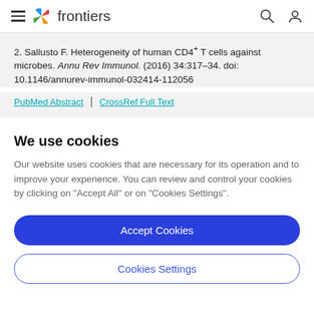frontiers
2. Sallusto F. Heterogeneity of human CD4+ T cells against microbes. Annu Rev Immunol. (2016) 34:317–34. doi: 10.1146/annurev-immunol-032414-112056
PubMed Abstract | CrossRef Full Text
We use cookies
Our website uses cookies that are necessary for its operation and to improve your experience. You can review and control your cookies by clicking on "Accept All" or on "Cookies Settings".
Accept Cookies
Cookies Settings